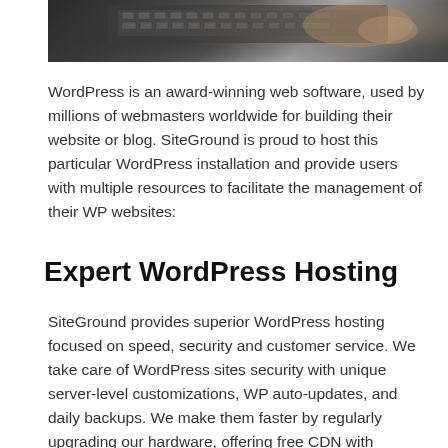[Figure (photo): Hands typing on a laptop keyboard, dark background]
WordPress is an award-winning web software, used by millions of webmasters worldwide for building their website or blog. SiteGround is proud to host this particular WordPress installation and provide users with multiple resources to facilitate the management of their WP websites:
Expert WordPress Hosting
SiteGround provides superior WordPress hosting focused on speed, security and customer service. We take care of WordPress sites security with unique server-level customizations, WP auto-updates, and daily backups. We make them faster by regularly upgrading our hardware, offering free CDN with Railgun and developing our SuperCacher that speeds